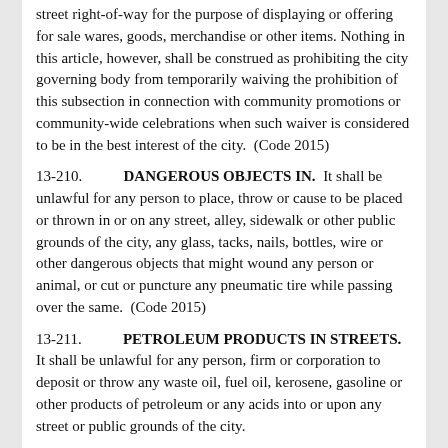street right-of-way for the purpose of displaying or offering for sale wares, goods, merchandise or other items. Nothing in this article, however, shall be construed as prohibiting the city governing body from temporarily waiving the prohibition of this subsection in connection with community promotions or community-wide celebrations when such waiver is considered to be in the best interest of the city.  (Code 2015)
13-210.           DANGEROUS OBJECTS IN.  It shall be unlawful for any person to place, throw or cause to be placed or thrown in or on any street, alley, sidewalk or other public grounds of the city, any glass, tacks, nails, bottles, wire or other dangerous objects that might wound any person or animal, or cut or puncture any pneumatic tire while passing over the same.  (Code 2015)
13-211.           PETROLEUM PRODUCTS IN STREETS.  It shall be unlawful for any person, firm or corporation to deposit or throw any waste oil, fuel oil, kerosene, gasoline or other products of petroleum or any acids into or upon any street or public grounds of the city.